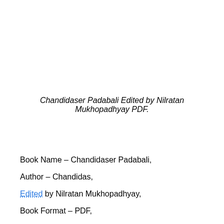Chandidaser Padabali Edited by Nilratan Mukhopadhyay PDF.
Book Name – Chandidaser Padabali,
Author – Chandidas,
Edited by Nilratan Mukhopadhyay,
Book Format – PDF,
PDF Size – 13 MB,
Book Pages – 414,